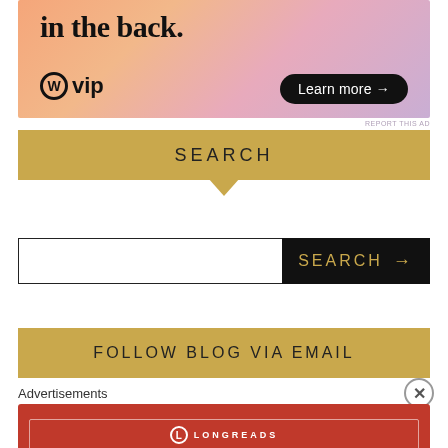[Figure (illustration): WordPress VIP advertisement banner with colorful gradient background showing text 'in the back.' with WordPress VIP logo and 'Learn more →' button]
REPORT THIS AD
SEARCH
[Figure (other): Search input box with white text field and black SEARCH button with arrow]
FOLLOW BLOG VIA EMAIL
Advertisements
[Figure (other): Longreads advertisement: red banner with Longreads logo and tagline 'The best stories on the web – ours, and everyone else's.']